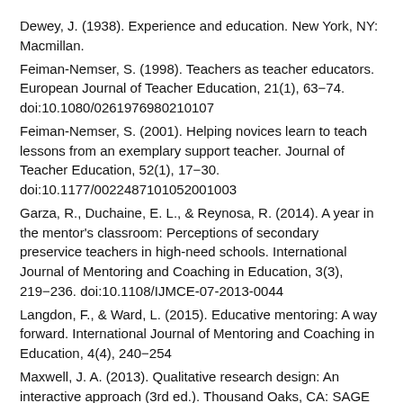Dewey, J. (1938). Experience and education. New York, NY: Macmillan.
Feiman-Nemser, S. (1998). Teachers as teacher educators. European Journal of Teacher Education, 21(1), 63−74. doi:10.1080/0261976980210107
Feiman-Nemser, S. (2001). Helping novices learn to teach lessons from an exemplary support teacher. Journal of Teacher Education, 52(1), 17−30. doi:10.1177/0022487101052001003
Garza, R., Duchaine, E. L., & Reynosa, R. (2014). A year in the mentor's classroom: Perceptions of secondary preservice teachers in high-need schools. International Journal of Mentoring and Coaching in Education, 3(3), 219−236. doi:10.1108/IJMCE-07-2013-0044
Langdon, F., & Ward, L. (2015). Educative mentoring: A way forward. International Journal of Mentoring and Coaching in Education, 4(4), 240−254
Maxwell, J. A. (2013). Qualitative research design: An interactive approach (3rd ed.). Thousand Oaks, CA: SAGE Publications.
Rowley, J. B. (1999). The good mentor. Educational Leadership,